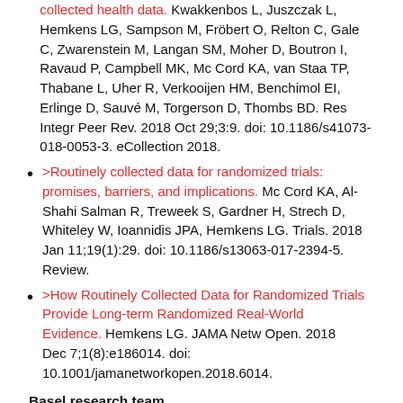collected health data. Kwakkenbos L, Juszczak L, Hemkens LG, Sampson M, Fröbert O, Relton C, Gale C, Zwarenstein M, Langan SM, Moher D, Boutron I, Ravaud P, Campbell MK, Mc Cord KA, van Staa TP, Thabane L, Uher R, Verkooijen HM, Benchimol EI, Erlinge D, Sauvé M, Torgerson D, Thombs BD. Res Integr Peer Rev. 2018 Oct 29;3:9. doi: 10.1186/s41073-018-0053-3. eCollection 2018.
>Routinely collected data for randomized trials: promises, barriers, and implications. Mc Cord KA, Al-Shahi Salman R, Treweek S, Gardner H, Strech D, Whiteley W, Ioannidis JPA, Hemkens LG. Trials. 2018 Jan 11;19(1):29. doi: 10.1186/s13063-017-2394-5. Review.
>How Routinely Collected Data for Randomized Trials Provide Long-term Randomized Real-World Evidence. Hemkens LG. JAMA Netw Open. 2018 Dec 7;1(8):e186014. doi: 10.1001/jamanetworkopen.2018.6014.
Basel research team